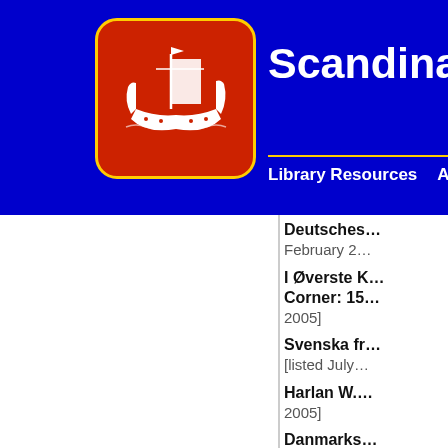[Figure (logo): Scandinavian Collectors Club logo: red rounded square with yellow border containing white Viking ship illustration]
Scandinavian Collect…
Library Resources   About SCC   Membe…
Deutsches… February 2…
I Øverste K… Corner: 15… 2005]
Svenska fr… [listed July…
Harlan W.… 2005]
Danmarks… Jørgensen,…
Lokal og e…